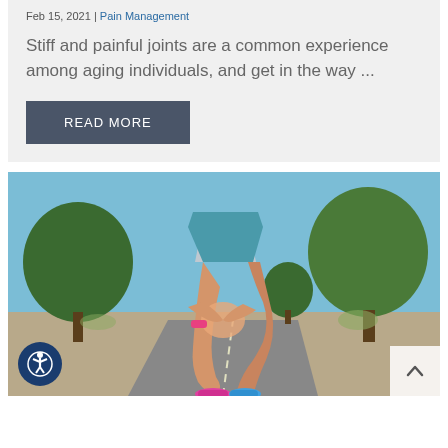Feb 15, 2021 | Pain Management
Stiff and painful joints are a common experience among aging individuals, and get in the way ...
READ MORE
[Figure (photo): A female runner on an outdoor road bending over and holding her knee with both hands, wearing a pink wristband and colorful running shoes, with trees and blue sky in the background.]